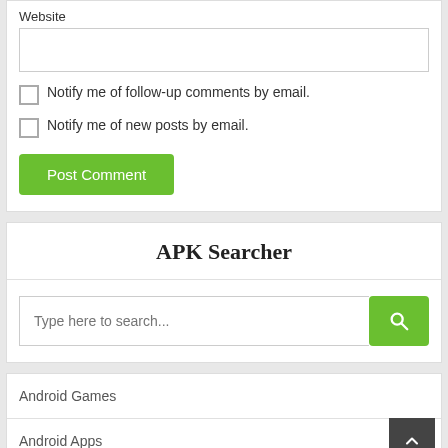Website
Notify me of follow-up comments by email.
Notify me of new posts by email.
Post Comment
APK Searcher
Type here to search...
Android Games
Android Apps